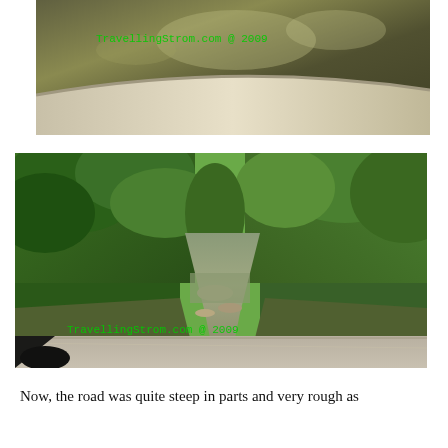[Figure (photo): View from inside a vehicle showing the top of a windshield/roof curving across the frame, with dappled sunlight and trees visible. Green text watermark reads 'TravellingStrom.com @ 2009'.]
[Figure (photo): View from inside a vehicle showing a rocky creek or shallow river pathway through dense green trees. The vehicle's dashboard/hood is visible at the bottom. Green text watermark reads 'TravellingStrom.com @ 2009'.]
Now, the road was quite steep in parts and very rough as